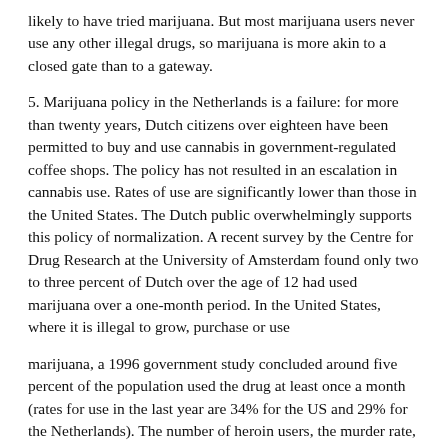likely to have tried marijuana. But most marijuana users never use any other illegal drugs, so marijuana is more akin to a closed gate than to a gateway.
5. Marijuana policy in the Netherlands is a failure: for more than twenty years, Dutch citizens over eighteen have been permitted to buy and use cannabis in government-regulated coffee shops. The policy has not resulted in an escalation in cannabis use. Rates of use are significantly lower than those in the United States. The Dutch public overwhelmingly supports this policy of normalization. A recent survey by the Centre for Drug Research at the University of Amsterdam found only two to three percent of Dutch over the age of 12 had used marijuana over a one-month period. In the United States, where it is illegal to grow, purchase or use
marijuana, a 1996 government study concluded around five percent of the population used the drug at least once a month (rates for use in the last year are 34% for the US and 29% for the Netherlands). The number of heroin users, the murder rate, crime-related deaths and the incarceration rate are all considerably higher in the US as compared to the Netherlands.
6. Marijuana kills brain cells: in fact, none of the tests used to detect brain damage in humans have found harm from marijuana, even from long-term high-dose use.